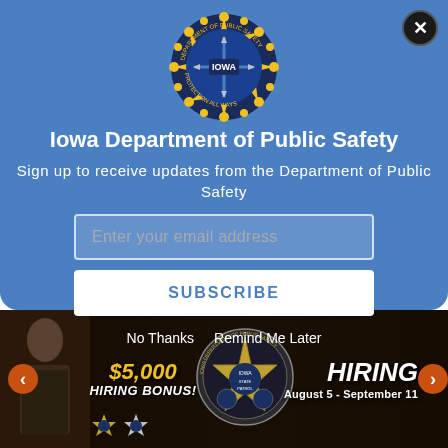[Figure (logo): Iowa Department of Public Safety seal — circular badge with yellow star/gear border, blue center with IOWA text]
Iowa Department of Public Safety
Sign up to receive updates from the Department of Public Safety
Enter your email address
SUBSCRIBE
No Thanks   Remind Me Later
[Figure (photo): Iowa State Patrol banner ad showing a female officer, $5,000 Hiring Bonus!, Iowa Department of Public Safety seal, HIRING August 5 - September 11, with navigation arrows and badge icons]